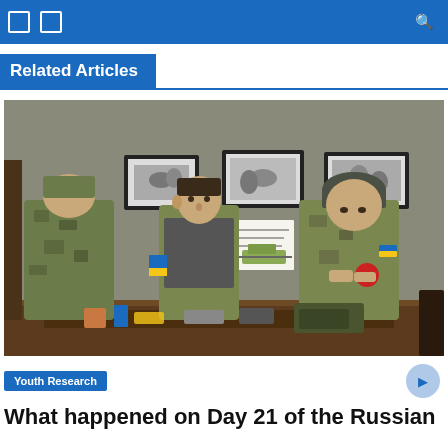Navigation bar with icons and search
Related Articles
[Figure (photo): Three Ukrainian soldiers in camouflage uniforms standing indoors around a table with equipment. Framed black-and-white photographs hang on the wall behind them. One soldier has a yellow-blue armband, another wears a dark beanie and has a Ukrainian flag patch on his arm.]
Youth Research
What happened on Day 21 of the Russian